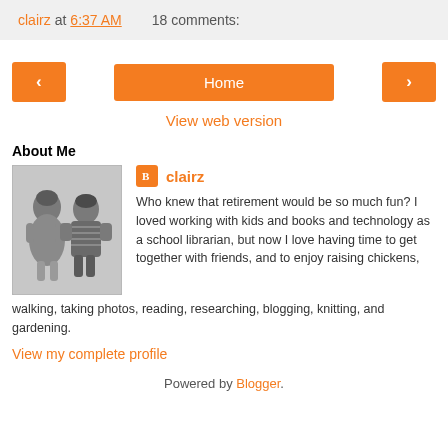clairz at 6:37 AM   18 comments:
< Home >
View web version
About Me
[Figure (photo): Black and white photo of two young children, a girl in a dress and a boy, sitting together]
clairz
Who knew that retirement would be so much fun? I loved working with kids and books and technology as a school librarian, but now I love having time to get together with friends, and to enjoy raising chickens, walking, taking photos, reading, researching, blogging, knitting, and gardening.
View my complete profile
Powered by Blogger.